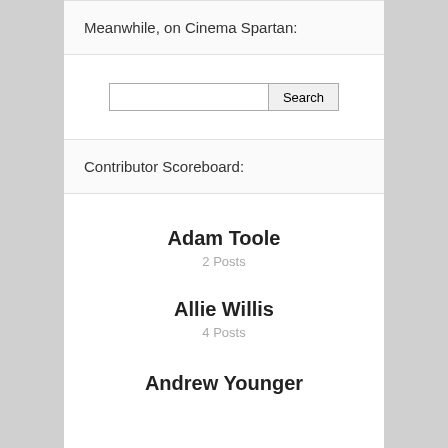Meanwhile, on Cinema Spartan:
Search
Contributor Scoreboard:
Adam Toole
2 Posts
Allie Willis
4 Posts
Andrew Younger